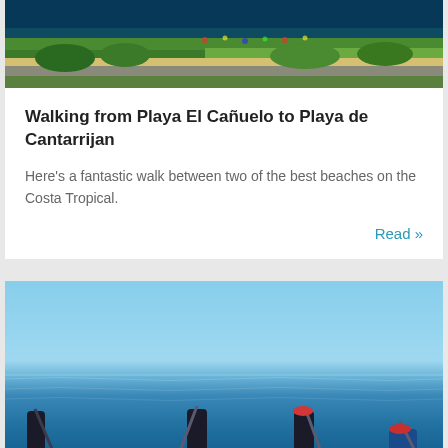[Figure (photo): Aerial view of a beach coastline with blue sea, sandy beach strip, green vegetation, and a coastal road]
Walking from Playa El Cañuelo to Playa de Cantarrijan
Here's a fantastic walk between two of the best beaches on the Costa Tropical.
Read »
[Figure (photo): Four people stand-up paddleboarding on calm blue sea under a clear blue sky]